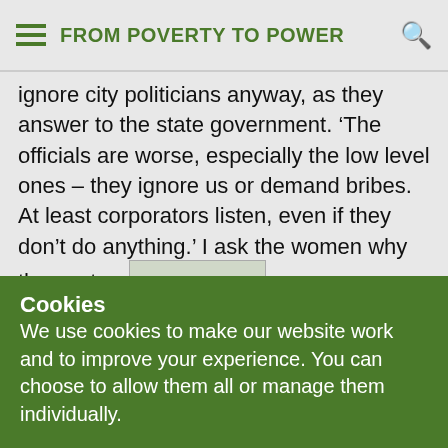FROM POVERTY TO POWER
ignore city politicians anyway, as they answer to the state government. ‘The officials are worse, especially the low level ones – they ignore us or demand bribes. At least corporators listen, even if they don’t do anything.’ I ask the women why they get organized in this way: “Because we’ve got confidence, the
[Figure (other): vigyan foundation Header 200 - small image placeholder inline in text]
Cookies
We use cookies to make our website work and to improve your experience. You can choose to allow them all or manage them individually.